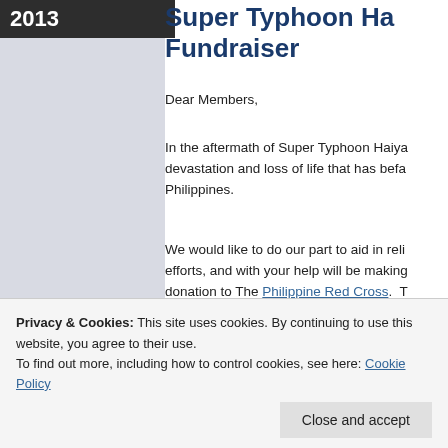2013
Super Typhoon Haiyan Fundraiser
Dear Members,
In the aftermath of Super Typhoon Haiya… devastation and loss of life that has befa… Philippines.
We would like to do our part to aid in reli… efforts, and with your help will be making… donation to The Philippine Red Cross. T… giving members in all of our communities… opportunity to help by creating a special… Relief fundraiser option in the Rewards c… We will be collecting member point dona…
fundraiser. You may donate as little as…
Privacy & Cookies: This site uses cookies. By continuing to use this website, you agree to their use.
To find out more, including how to control cookies, see here: Cookie Policy
Close and accept